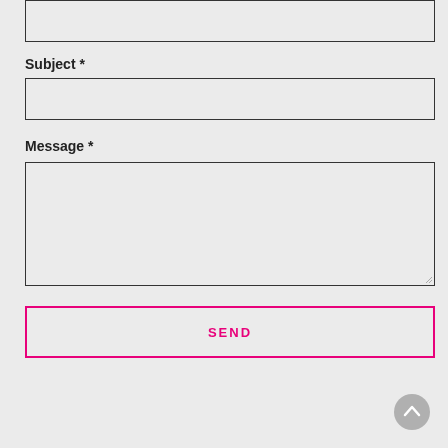[Figure (screenshot): Top input field (partially visible, cropped at top of page)]
Subject *
[Figure (screenshot): Subject text input field, empty, with dark border]
Message *
[Figure (screenshot): Message textarea input field, empty, with dark border and resize handle]
SEND
[Figure (screenshot): Scroll-to-top circular button in bottom-right corner with upward arrow]